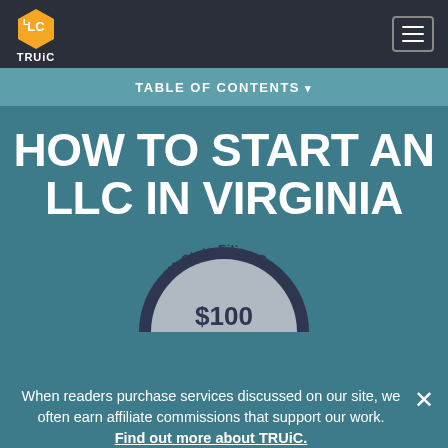[Figure (logo): TRUiC logo - orange 3D box with LLC letters and TRUiC text below, on dark navy navigation bar with hamburger menu icon on right]
TABLE OF CONTENTS ▾
HOW TO START AN LLC IN VIRGINIA
[Figure (infographic): Semi-circular badge/coin graphic showing 'VA State Filing Cost $100' with dark navy outer arc and grey center]
When readers purchase services discussed on our site, we often earn affiliate commissions that support our work. Find out more about TRUiC.